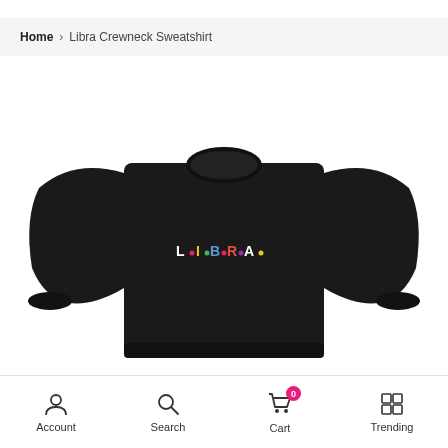Home > Libra Crewneck Sweatshirt
[Figure (photo): Black crewneck sweatshirt with 'L·I·B·R·A·' text printed on the chest in colorful letters styled like the Friends TV show logo font, displayed on a white background.]
Account   Search   Cart 0   Trending